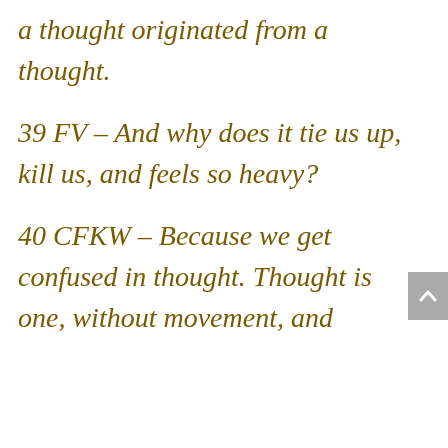a thought originated from a thought.
39 FV – And why does it tie us up, kill us, and feels so heavy?
40 CFKW – Because we get confused in thought. Thought is one, without movement, and